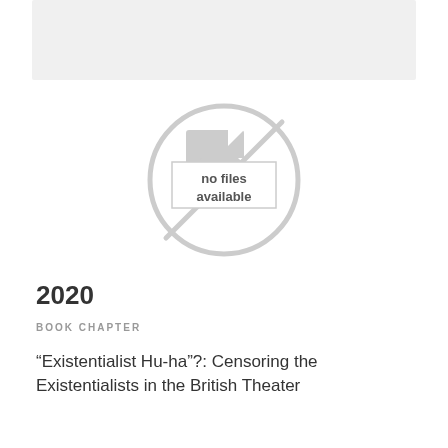[Figure (other): Gray placeholder rectangle at top of page representing an unavailable image]
[Figure (other): A circular 'no files available' icon with a crossed-out document symbol and text 'no files available' in the center]
2020
BOOK CHAPTER
“Existentialist Hu-ha”?: Censoring the Existentialists in the British Theater